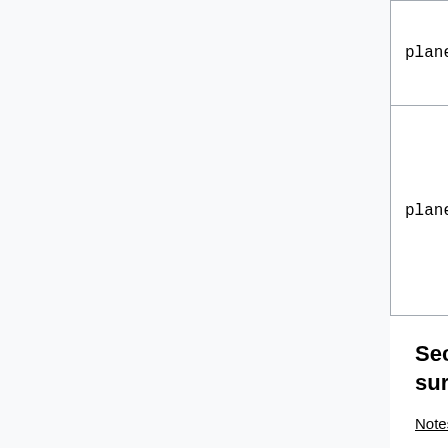| plane | A, B, C, D | D(x, g, z) | ... |
| --- | --- | --- | --- |
| plane | x1, y1, z1,
x2, y2, z2,
x3, y3, z3 |  |  |
Second-order quadratic surfaces
Notes:
cyl is the same surface as cylz
Infinite cylinders use the same names as the truncated cylinders.
With three values provided in the surface card for cylx, cyly, cylz or cyl the surface is an infinite cylinder. With five values the surface is an truncated cylinder.